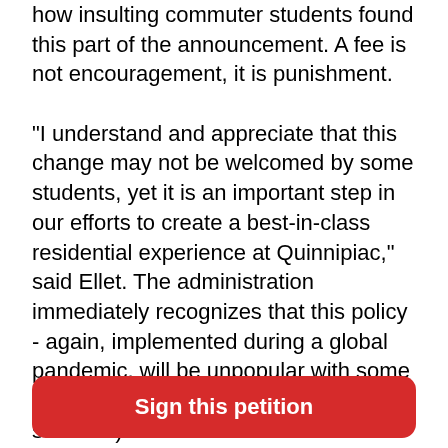how insulting commuter students found this part of the announcement. A fee is not encouragement, it is punishment.

“I understand and appreciate that this change may not be welcomed by some students, yet it is an important step in our efforts to create a best-in-class residential experience at Quinnipiac,” said Ellet. The administration immediately recognizes that this policy - again, implemented during a global pandemic, will be unpopular with some students (obviously - commuter students). Commuter students are more likely to be first-generation students, immigrants, low income, and minority students. The email also mentions, “According to data from the Quinnipiac Class of 2021, students who lived on campus had stronger GPAs and an 11% higher retention rate into their fourth year
Sign this petition